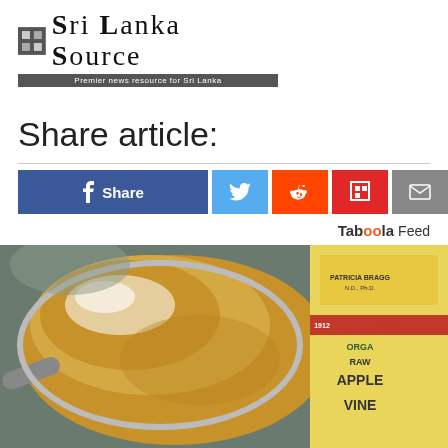SRI LANKA SOURCE — Premier news resource for Sri Lanka
Share article:
[Figure (infographic): Social share buttons: Facebook Share, Twitter, Reddit, Flipboard, Email]
Taboola Feed
[Figure (photo): Close-up photo of a spoon with apple cider vinegar liquid and a Bragg Organic Raw Apple Cider Vinegar bottle in the background]